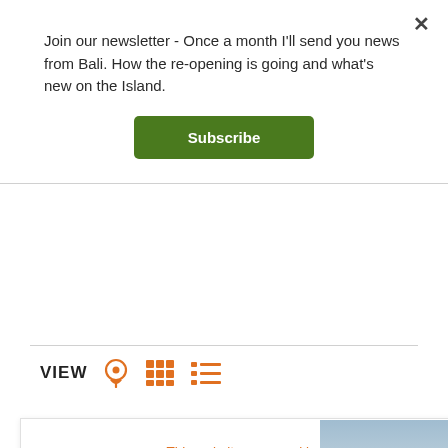Join our newsletter - Once a month I'll send you news from Bali. How the re-opening is going and what's new on the Island.
Subscribe
VIEW
This website uses cookies to improve your experience.
We'll assume you're ok with this, but you can opt-out if you wish.
Accept
Read More